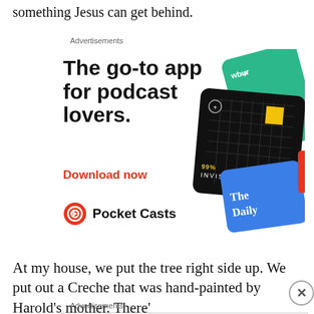something Jesus can get behind.
Advertisements
[Figure (illustration): Pocket Casts advertisement: 'The go-to app for podcast lovers. Download now' with podcast app card illustrations (99% Invisible, The Daily, wbur) and Pocket Casts logo.]
At my house, we put the tree right side up. We put out a Creche that was hand-painted by Harold's mother. There'
Advertisements
[Figure (illustration): MAC Cosmetics advertisement showing lipsticks with 'SHOP NOW' button.]